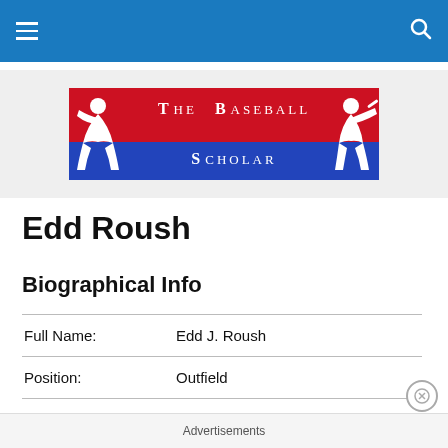Navigation bar with hamburger menu and search icon
[Figure (logo): The Baseball Scholar logo — red and blue banner with white silhouettes of a pitcher and batter, text reads 'The Baseball Scholar']
Edd Roush
Biographical Info
| Full Name: | Edd J. Roush |
| Position: | Outfield |
| Bats: | Left |
| Throws: | Left |
Advertisements